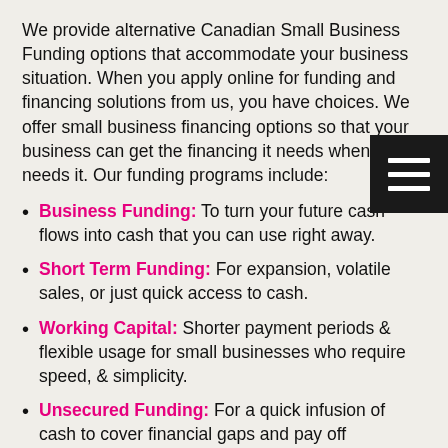We provide alternative Canadian Small Business Funding options that accommodate your business situation. When you apply online for funding and financing solutions from us, you have choices. We offer small business financing options so that your business can get the financing it needs when it needs it. Our funding programs include:
Business Funding: To turn your future cash flows into cash that you can use right away.
Short Term Funding: For expansion, volatile sales, or just quick access to cash.
Working Capital: Shorter payment periods & flexible usage for small businesses who require speed, & simplicity.
Unsecured Funding: For a quick infusion of cash to cover financial gaps and pay off